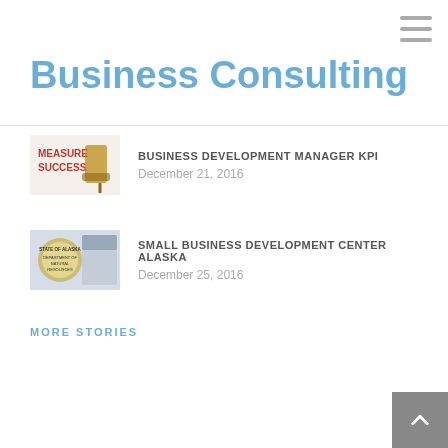[Figure (other): Hamburger menu icon (three horizontal lines) in top right corner]
Business Consulting
[Figure (other): Thumbnail image for 'MEASURE SUCCESS' article - shows text 'MEASURE SUCCESS' with a paint roller graphic]
BUSINESS DEVELOPMENT MANAGER KPI
December 21, 2016
[Figure (other): Thumbnail image for 'State of Alaska Department of Natural Resources' article]
SMALL BUSINESS DEVELOPMENT CENTER ALASKA
December 25, 2016
MORE STORIES
[Figure (other): Back to top button arrow in bottom right corner]